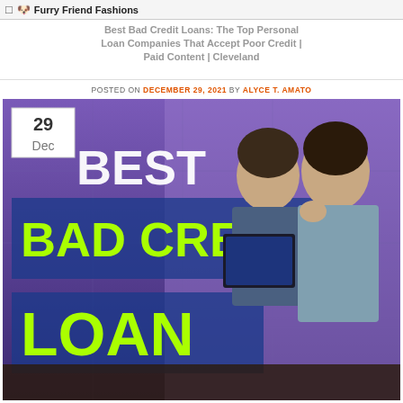Best Bad Credit Loans: The Top Personal Loan Companies That Accept Poor Credit | Paid Content | Cleveland
Furry Friend Fashions
POSTED ON DECEMBER 29, 2021 BY ALYCE T. AMATO
[Figure (photo): Hero image showing a couple looking worried at a tablet, with overlaid text reading 'BEST BAD CREDIT LOAN' in large bold letters on a blue/purple gradient background. A date badge in the top-left corner shows '29 Dec'.]